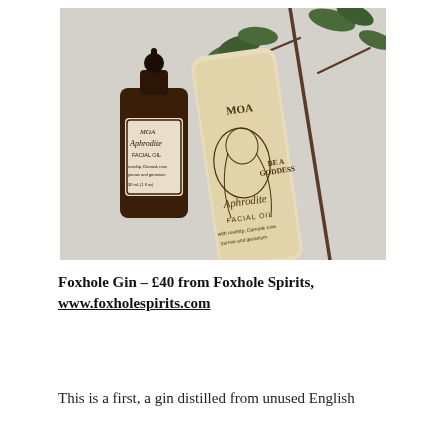[Figure (photo): Product photo of MOA Aphrodite Facial Oil — a dark amber glass dropper bottle with a vintage-style label on the left, and a cream-coloured cylindrical cardboard tube with line-art illustration of a goddess and text 'BE A GODDESS / Aphrodite / FACIAL OIL / with rosehip, Damask rose, yarrow and geranium' in the centre. A bare branch with green leaves extends across the top right against a light grey background.]
Foxhole Gin – £40 from Foxhole Spirits, www.foxholespirits.com
This is a first, a gin distilled from unused English